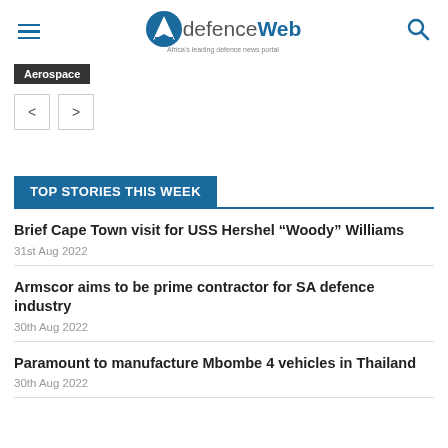defenceWeb — Africa's leading defence news portal
Aerospace
TOP STORIES THIS WEEK
Brief Cape Town visit for USS Hershel “Woody” Williams
31st Aug 2022
Armscor aims to be prime contractor for SA defence industry
30th Aug 2022
Paramount to manufacture Mbombe 4 vehicles in Thailand
30th Aug 2022